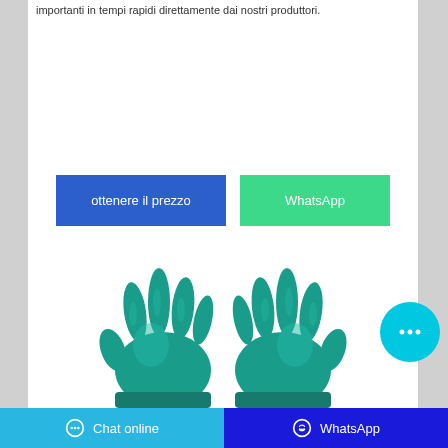importanti in tempi rapidi direttamente dai nostri produttori.
[Figure (illustration): Two teal/green nitrile protective gloves shown side by side, fingers spread upward]
Chat online | WhatsApp